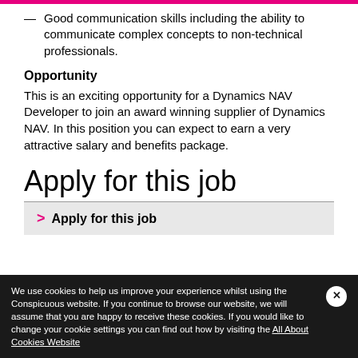Good communication skills including the ability to communicate complex concepts to non-technical professionals.
Opportunity
This is an exciting opportunity for a Dynamics NAV Developer to join an award winning supplier of Dynamics NAV. In this position you can expect to earn a very attractive salary and benefits package.
Apply for this job
> Apply for this job
We use cookies to help us improve your experience whilst using the Conspicuous website. If you continue to browse our website, we will assume that you are happy to receive these cookies. If you would like to change your cookie settings you can find out how by visiting the All About Cookies Website